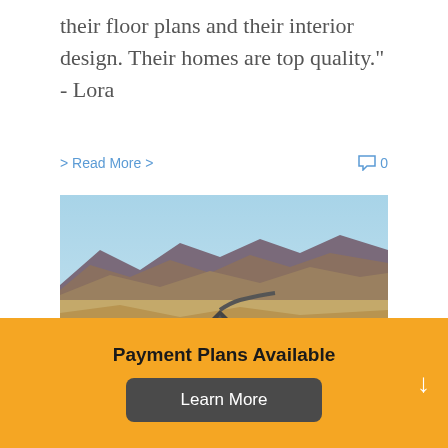their floor plans and their interior design. Their homes are top quality." - Lora
> Read More >   💬 0
[Figure (photo): A winding road through a desert landscape with rocky mountains in the background under a clear blue sky.]
Payment Plans Available
Learn More